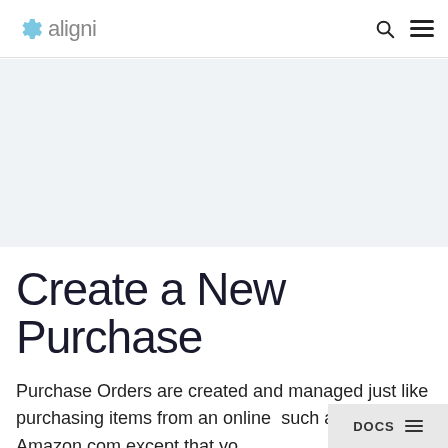aligni
[Figure (screenshot): Light gray placeholder/hero image area below the navigation header]
Create a New Purchase
Purchase Orders are created and managed just like purchasing items from an online such as Amazon.com except that yo